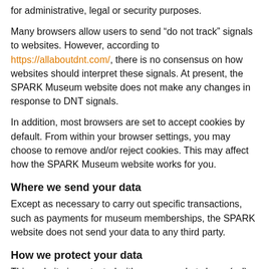for administrative, legal or security purposes.
Many browsers allow users to send “do not track” signals to websites. However, according to https://allaboutdnt.com/, there is no consensus on how websites should interpret these signals. At present, the SPARK Museum website does not make any changes in response to DNT signals.
In addition, most browsers are set to accept cookies by default. From within your browser settings, you may choose to remove and/or reject cookies. This may affect how the SPARK Museum website works for you.
Where we send your data
Except as necessary to carry out specific transactions, such as payments for museum memberships, the SPARK website does not send your data to any third party.
How we protect your data
This website is protected with secure sockets layer (ssl)